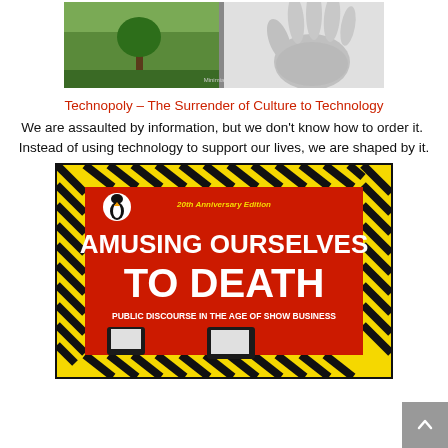[Figure (photo): Book cover image showing a tree on grass (left half) and a black-and-white hand (right half) — cover of Technopoly by Neil Postman]
Technopoly – The Surrender of Culture to Technology
We are assaulted by information, but we don't know how to order it.  Instead of using technology to support our lives, we are shaped by it.
[Figure (photo): Book cover of 'Amusing Ourselves to Death' 20th Anniversary Edition — red background with yellow/black hazard stripe border, Penguin logo, white bold text, two stylized TV sets at bottom]